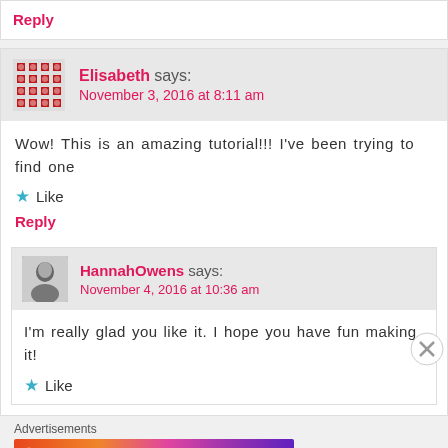Reply
Elisabeth says: November 3, 2016 at 8:11 am
Wow! This is an amazing tutorial!!! I've been trying to find one
Like
Reply
HannahOwens says: November 4, 2016 at 10:36 am
I'm really glad you like it. I hope you have fun making it!
Like
Advertisements
[Figure (infographic): Fandom on Tumblr advertisement banner with colorful gradient background]